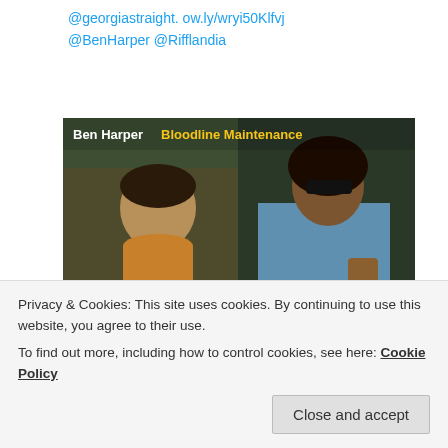@georgiastraight. ow.ly/wryi50Klfvj @BenHarper @Rifflandia
[Figure (photo): Album art for Ben Harper 'Bloodline Maintenance' showing a split image: left side is a young child, right side is an adult man wearing sunglasses and a blue shirt playing guitar]
1  5 (reply and like counts)
steve newton (Twitter user with bird icon)
Privacy & Cookies: This site uses cookies. By continuing to use this website, you agree to their use.
To find out more, including how to control cookies, see here: Cookie Policy
Close and accept
@FANGORIA @BDisgusting